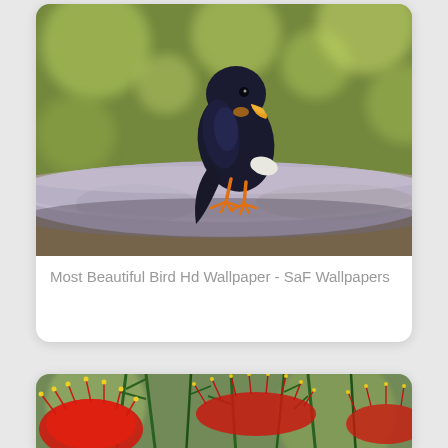[Figure (photo): A dark navy/black bird with orange feet and yellow beak perched on a thick grey branch, with blurred green background. Caption card below.]
Most Beautiful Bird Hd Wallpaper - SaF Wallpapers
[Figure (photo): Red tropical flowers (bottlebrush/callistemon) with green spiky leaves against a blurred background.]